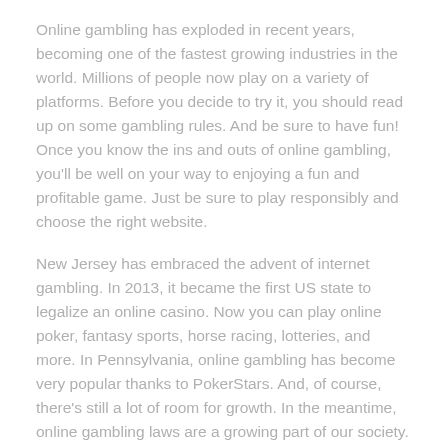Online gambling has exploded in recent years, becoming one of the fastest growing industries in the world. Millions of people now play on a variety of platforms. Before you decide to try it, you should read up on some gambling rules. And be sure to have fun! Once you know the ins and outs of online gambling, you'll be well on your way to enjoying a fun and profitable game. Just be sure to play responsibly and choose the right website.
New Jersey has embraced the advent of internet gambling. In 2013, it became the first US state to legalize an online casino. Now you can play online poker, fantasy sports, horse racing, lotteries, and more. In Pennsylvania, online gambling has become very popular thanks to PokerStars. And, of course, there's still a lot of room for growth. In the meantime, online gambling laws are a growing part of our society.